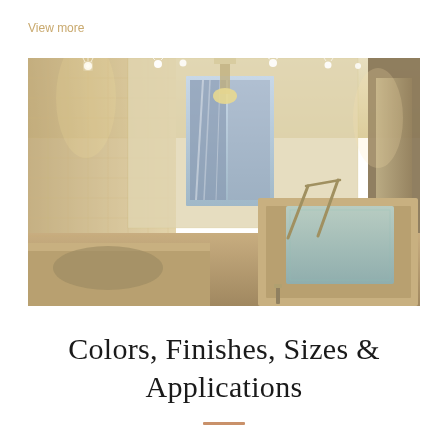View more
[Figure (photo): Luxury spa interior with shimmer tile walls, recessed ceiling lights, a sunken pool with metal railings, a hanging pendant light, and a window with blue-tone artwork. Warm golden lighting throughout.]
Colors, Finishes, Sizes & Applications